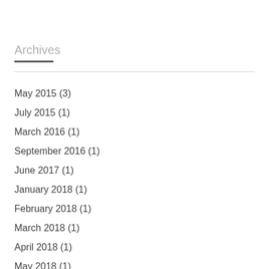Archives
May 2015 (3)
July 2015 (1)
March 2016 (1)
September 2016 (1)
June 2017 (1)
January 2018 (1)
February 2018 (1)
March 2018 (1)
April 2018 (1)
May 2018 (1)